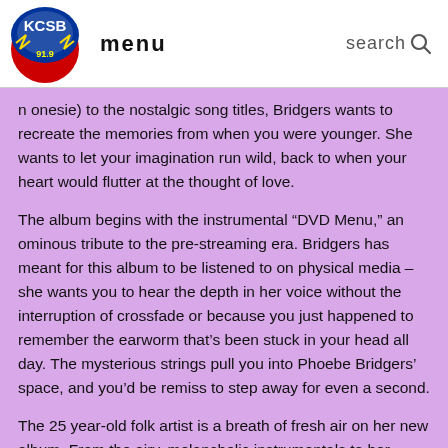KCSB logo | menu | search
n onesie) to the nostalgic song titles, Bridgers wants to recreate the memories from when you were younger. She wants to let your imagination run wild, back to when your heart would flutter at the thought of love.
The album begins with the instrumental “DVD Menu,” an ominous tribute to the pre-streaming era. Bridgers has meant for this album to be listened to on physical media – she wants you to hear the depth in her voice without the interruption of crossfade or because you just happened to remember the earworm that’s been stuck in your head all day. The mysterious strings pull you into Phoebe Bridgers’ space, and you’d be remiss to step away for even a second.
The 25 year-old folk artist is a breath of fresh air on her new album. From the airy, melancholic instrumentals to her emotional lyrics, Phoebe Bridgers creates an aura of closeness. During “Garden Song,” her voice envelops you like your favorite blanket on a cool Autumn night with its dreamy guitar hook and Christian Lee Hutson’s bellowing, deep voice. On “Halloween,” the bass strings are plucked